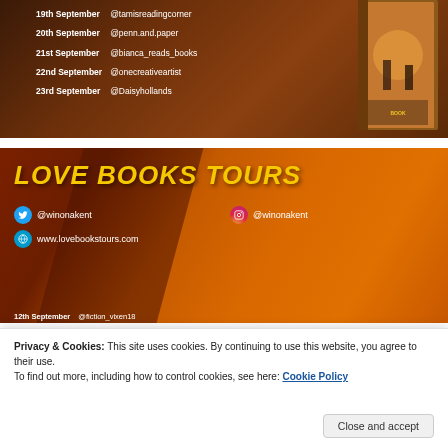[Figure (infographic): Book tour schedule banner with dark brown/reddish background listing dates and Instagram handles: 19th September @tamisreadingcorner, 20th September @penn.and.paper, 21st September @bianca_reads_books, 22nd September @onecreativeartist, 23rd September @Daisyhollands, with a book cover on the right]
[Figure (infographic): Love Books Tours promotional banner with orange/brown gradient background, yellow bold italic text 'LOVE BOOKS TOURS', Twitter @winonakent, Instagram @winonakent, website www.lovebookstours.com, and partial schedule starting 12th September @fiction_vixen18]
Privacy & Cookies: This site uses cookies. By continuing to use this website, you agree to their use.
To find out more, including how to control cookies, see here: Cookie Policy
Close and accept